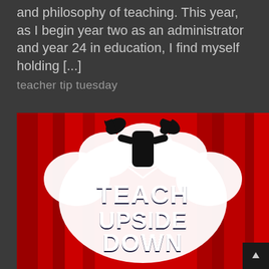and philosophy of teaching. This year, as I begin year two as an administrator and year 24 in education, I find myself holding [...]
teacher tip tuesday
[Figure (illustration): Illustrated graphic of a person upside down against a red curtain background, with the text 'TEACH UPSIDE DOWN' in large white bold letters inside a cloud-shaped speech bubble.]